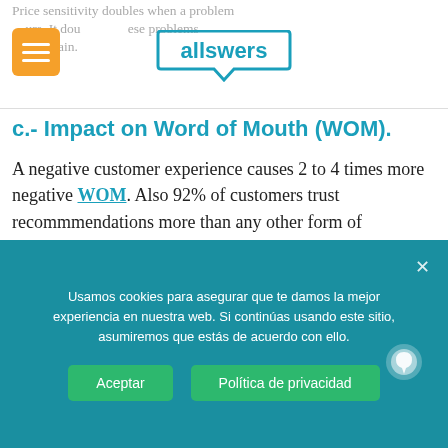Price sensitivity doubles when a problem occurs. It doubles these problems occur again.
[Figure (logo): Allswers logo - teal text with speech bubble outline]
c.- Impact on Word of Mouth (WOM).
A negative customer experience causes 2 to 4 times more negative WOM. Also 92% of customers trust recommmendations more than any other form of advertising.
d.- Growth and customer experience.
The detractors are customers who feel
Usamos cookies para asegurar que te damos la mejor experiencia en nuestra web. Si continúas usando este sitio, asumiremos que estás de acuerdo con ello.